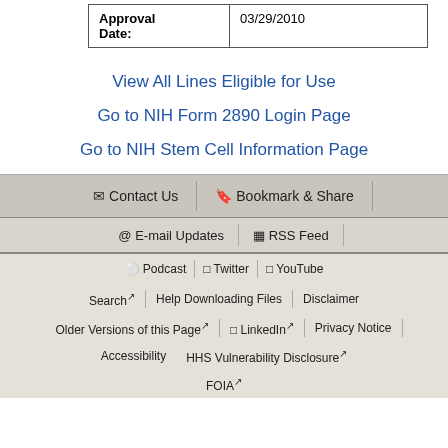| Approval Date: | 03/29/2010 |
View All Lines Eligible for Use
Go to NIH Form 2890 Login Page
Go to NIH Stem Cell Information Page
Contact Us | Bookmark & Share | E-mail Updates | RSS Feed | Podcast | Twitter | YouTube | Search | Help Downloading Files | Disclaimer | Older Versions of this Page | LinkedIn | Privacy Notice | Accessibility | HHS Vulnerability Disclosure | FOIA